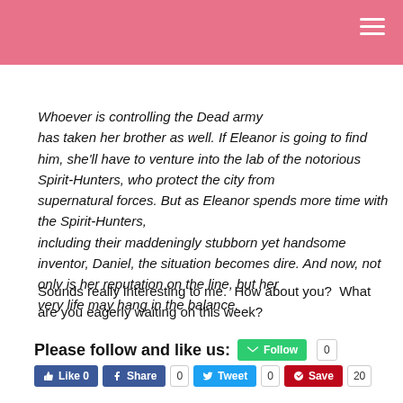Whoever is controlling the Dead army has taken her brother as well. If Eleanor is going to find him, she'll have to venture into the lab of the notorious Spirit-Hunters, who protect the city from supernatural forces. But as Eleanor spends more time with the Spirit-Hunters, including their maddeningly stubborn yet handsome inventor, Daniel, the situation becomes dire. And now, not only is her reputation on the line, but her very life may hang in the balance.
Sounds really interesting to me.  How about you?  What are you eagerly waiting on this week?
Please follow and like us:  Follow 0  Like 0  Share 0  Tweet 0  Save 20